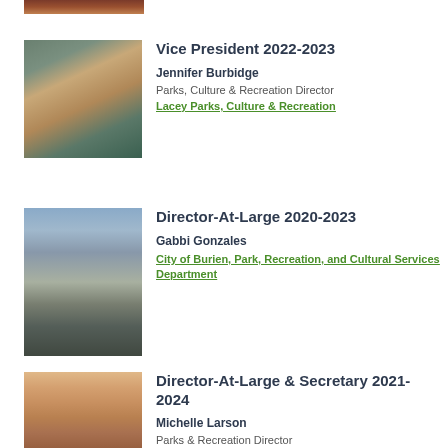[Figure (photo): Partial photo cropped at top of page, appears to be a sunset or landscape image]
Vice President 2022-2023
Jennifer Burbidge
Parks, Culture & Recreation Director
Lacey Parks, Culture & Recreation
[Figure (photo): Headshot of Jennifer Burbidge, woman with wavy brown hair, wearing a teal/dark top, smiling]
Director-At-Large 2020-2023
Gabbi Gonzales
City of Burien, Park, Recreation, and Cultural Services Department
[Figure (photo): Photo of Gabbi Gonzales, person seated outdoors in mountain landscape with rocky terrain and snow-capped peaks]
Director-At-Large & Secretary 2021-2024
Michelle Larson
Parks & Recreation Director
[Figure (photo): Partial headshot of Michelle Larson, woman with blonde hair smiling]